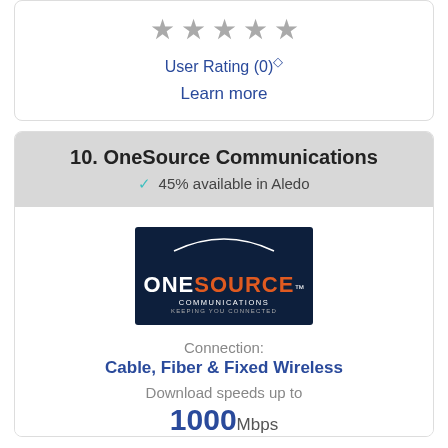[Figure (other): Five gray star icons representing user rating]
User Rating (0)◇
Learn more
10. OneSource Communications
✓ 45% available in Aledo
[Figure (logo): OneSource Communications logo on dark navy background with arc, orange SOURCE text, COMMUNICATIONS and KEEPING YOU CONNECTED tagline]
Connection:
Cable, Fiber & Fixed Wireless
Download speeds up to
1000 Mbps